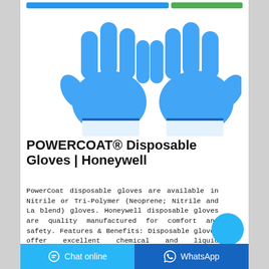[Figure (photo): Two blue disposable gloves (PowerCoat Honeywell) displayed on white background, fingers pointing up]
POWERCOAT® Disposable Gloves | Honeywell
PowerCoat disposable gloves are available in Nitrile or Tri-Polymer (Neoprene; Nitrile and La blend) gloves. Honeywell disposable gloves are quality manufactured for comfort and safety. Features & Benefits: Disposable gloves offer excellent chemical and liquid protection. As with any chemical-resistant gloves please be sure to consult with
Chat online   WhatsApp